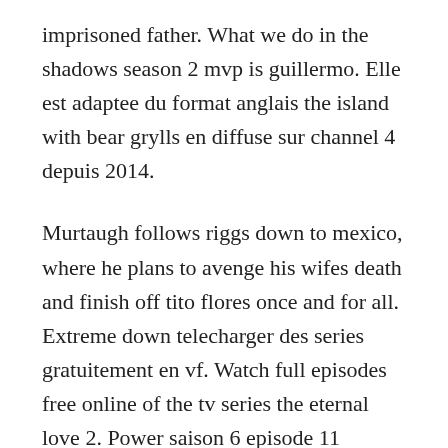imprisoned father. What we do in the shadows season 2 mvp is guillermo. Elle est adaptee du format anglais the island with bear grylls en diffuse sur channel 4 depuis 2014.
Murtaugh follows riggs down to mexico, where he plans to avenge his wifes death and finish off tito flores once and for all. Extreme down telecharger des series gratuitement en vf. Watch full episodes free online of the tv series the eternal love 2. Power saison 6 episode 11 streaming vf francais 2014. Hawaii 5 0 saison 1 episode 9 streaming vf voir